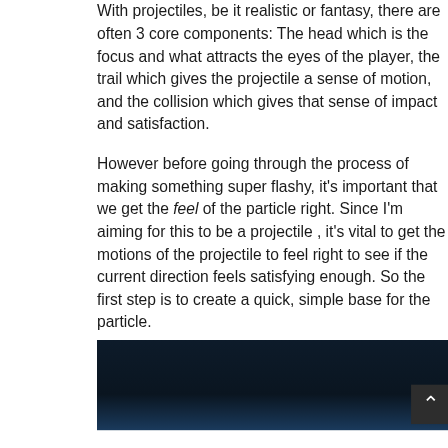With projectiles, be it realistic or fantasy, there are often 3 core components: The head which is the focus and what attracts the eyes of the player, the trail which gives the projectile a sense of motion, and the collision which gives that sense of impact and satisfaction.
However before going through the process of making something super flashy, it's important that we get the feel of the particle right. Since I'm aiming for this to be a projectile , it's vital to get the motions of the projectile to feel right to see if the current direction feels satisfying enough. So the first step is to create a quick, simple base for the particle.
[Figure (screenshot): Dark blue/navy screenshot of a game environment or particle effect editor, partially visible at the bottom of the page.]